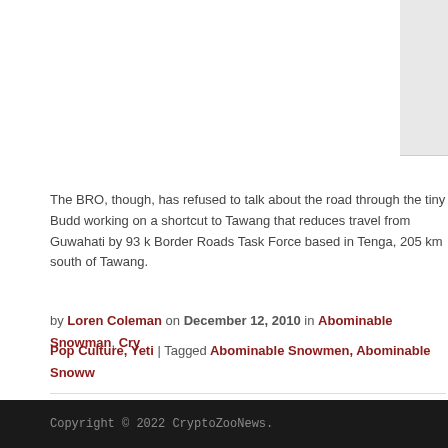[Figure (photo): Partial image visible at top right of page, appears to be a grey/white rectangular area]
The BRO, though, has refused to talk about the road through the tiny Budd working on a shortcut to Tawang that reduces travel from Guwahati by 93 k Border Roads Task Force based in Tenga, 205 km south of Tawang.
by Loren Coleman on December 12, 2010 in Abominable Snowman, Cry Pop Culture, Yeti | Tagged Abominable Snowmen, Abominable Snoww
Previous Entry: Louisiana Photo: Super 8 Viral Marketing!!
Next Entry: Doubting Yeren
Copyright © 2022 CryptoZooNews.